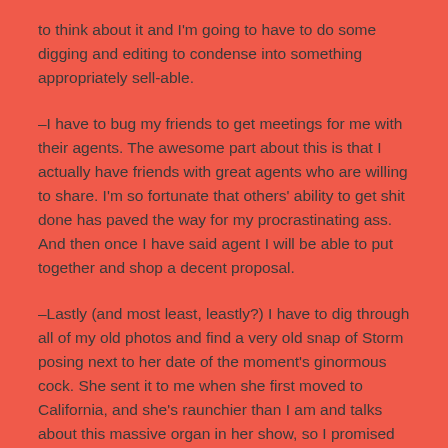to think about it and I'm going to have to do some digging and editing to condense into something appropriately sell-able.
–I have to bug my friends to get meetings for me with their agents. The awesome part about this is that I actually have friends with great agents who are willing to share. I'm so fortunate that others' ability to get shit done has paved the way for my procrastinating ass. And then once I have said agent I will be able to put together and shop a decent proposal.
–Lastly (and most least, leastly?) I have to dig through all of my old photos and find a very old snap of Storm posing next to her date of the moment's ginormous cock. She sent it to me when she first moved to California, and she's raunchier than I am and talks about this massive organ in her show, so I promised I'd try to find the evidence. This is, of course, not part of the book plan, I just think it's a fun item to put on the list. Sometimes I can't believe the comic trajectory my life has taken, I am so lucky to never be bored.